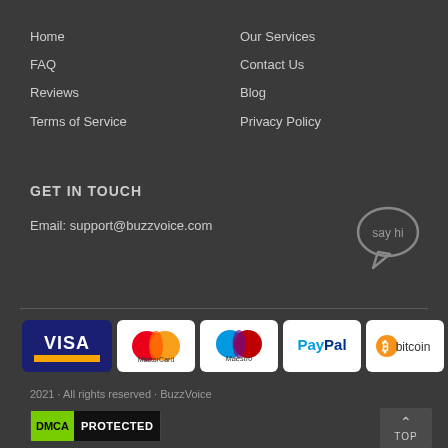Home
FAQ
Reviews
Terms of Service
Our Services
Contact Us
Blog
Privacy Policy
GET IN TOUCH
Email: support@buzzvoice.com
[Figure (illustration): Speech bubble icon with 'say hi' text]
[Figure (infographic): Payment method logos: VISA, MasterCard, Maestro, PayPal, bitcoin]
2021 · All rights reserved · BuzzVoice
[Figure (logo): DMCA PROTECTED badge]
TOP